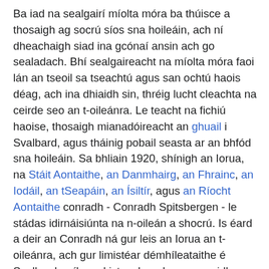Ba iad na sealgairí míolta móra ba thúisce a thosaigh ag socrú síos sna hoileáin, ach ní dheachaigh siad ina gcónaí ansin ach go sealadach. Bhí sealgaireacht na míolta móra faoi lán an tseoil sa tseachtú agus san ochtú haois déag, ach ina dhiaidh sin, thréig lucht cleachta na ceirde seo an t-oileánra. Le teacht na fichiú haoise, thosaigh mianadóireacht an ghuail i Svalbard, agus tháinig pobail seasta ar an bhfód sna hoileáin. Sa bhliain 1920, shínigh an Iorua, na Stáit Aontaithe, an Danmhairg, an Fhrainc, an Iodáil, an tSeapáin, an Ísiltír, agus an Ríocht Aontaithe conradh - Conradh Spitsbergen - le stádas idirnáisiúnta na n-oileán a shocrú. Is éard a deir an Conradh ná gur leis an Iorua an t-oileánra, ach gur limistéar démhíleataithe é Svalbard - níl cead isteach ag longa cogaidh, mar sin - agus go bhfuil leis na stáit seo go léir mianadóireacht ghuail a chleachtadh, chomh maith le hoibreacha eile a bhfuil leas eacnamaíoch iontu. Inniu, áfach, ní bhaineann